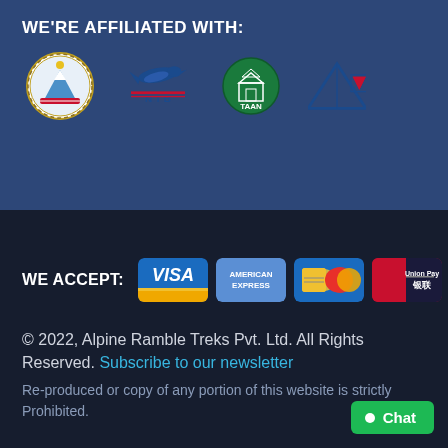WE'RE AFFILIATED WITH:
[Figure (logo): Four affiliation logos: Nepal government circular emblem, NTB (Nepal Tourism Board) logo with bird, TAAN logo (green circle with building), and a mountain triangle logo with Nepal flag colors]
[Figure (logo): Payment method logos: Visa, American Express, Maestro/Mastercard, UnionPay]
WE ACCEPT:
© 2022, Alpine Ramble Treks Pvt. Ltd. All Rights Reserved. Subscribe to our newsletter
Re-produced or copy of any portion of this website is strictly Prohibited.